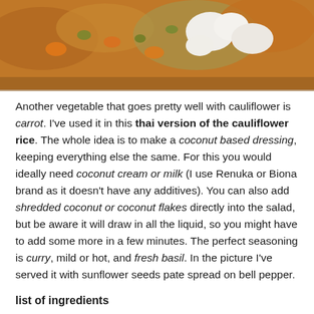[Figure (photo): Close-up photo of cauliflower rice dish with carrot and vegetables]
Another vegetable that goes pretty well with cauliflower is carrot. I've used it in this thai version of the cauliflower rice. The whole idea is to make a coconut based dressing, keeping everything else the same. For this you would ideally need coconut cream or milk (I use Renuka or Biona brand as it doesn't have any additives). You can also add shredded coconut or coconut flakes directly into the salad, but be aware it will draw in all the liquid, so you might have to add some more in a few minutes. The perfect seasoning is curry, mild or hot, and fresh basil. In the picture I've served it with sunflower seeds pate spread on bell pepper.
list of ingredients
cauliflower